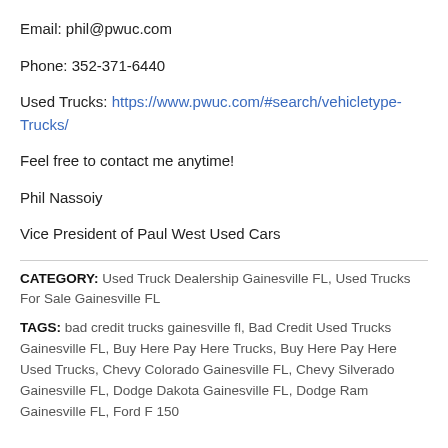Email: phil@pwuc.com
Phone: 352-371-6440
Used Trucks: https://www.pwuc.com/#search/vehicletype-Trucks/
Feel free to contact me anytime!
Phil Nassoiy
Vice President of Paul West Used Cars
CATEGORY: Used Truck Dealership Gainesville FL, Used Trucks For Sale Gainesville FL
TAGS: bad credit trucks gainesville fl, Bad Credit Used Trucks Gainesville FL, Buy Here Pay Here Trucks, Buy Here Pay Here Used Trucks, Chevy Colorado Gainesville FL, Chevy Silverado Gainesville FL, Dodge Dakota Gainesville FL, Dodge Ram Gainesville FL, Ford F 150